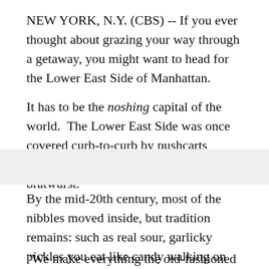NEW YORK, N.Y. (CBS) -- If you ever thought about grazing your way through a getaway, you might want to head for the Lower East Side of Manhattan.
It has to be the noshing capital of the world.  The Lower East Side was once covered curb-to-curb by pushcarts peddling everything from raw oysters to bratwurst.
By the mid-20th century, most of the nibbles moved inside, but tradition remains: such as real sour, garlicky pickles you eat like candy walking on Essex Street.
"We make everything the old-fashioned way, the way